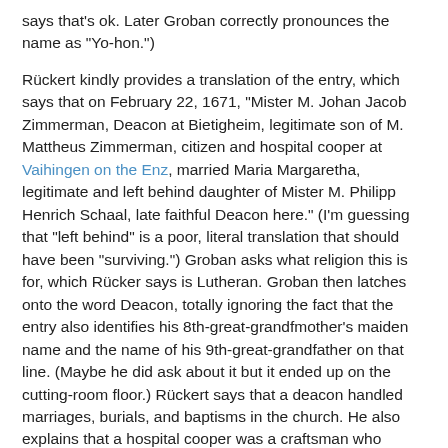says that's ok.  Later Groban correctly pronounces the name as "Yo-hon.")
Rückert kindly provides a translation of the entry, which says that on February 22, 1671, "Mister M. Johan Jacob Zimmerman, Deacon at Bietigheim, legitimate son of M. Mattheus Zimmerman, citizen and hospital cooper at Vaihingen on the Enz, married Maria Margaretha, legitimate and left behind daughter of Mister M. Philipp Henrich Schaal, late faithful Deacon here."  (I'm guessing that "left behind" is a poor, literal translation that should have been "surviving.")  Groban asks what religion this is for, which Rücker says is Lutheran.  Groban then latches onto the word Deacon, totally ignoring the fact that the entry also identifies his 8th-great-grandfmother's maiden name and the name of his 9th-great-grandfather on that line.  (Maybe he did ask about it but it ended up on the cutting-room floor.)  Rückert says that a deacon handled marriages, burials, and baptisms in the church.  He also explains that a hospital cooper was a craftsman who worked at the hospital (pretty vague, I know), and that Mattheus' father and grandfather probably also did the same kind of work.  The abbreviated title of "M." stands